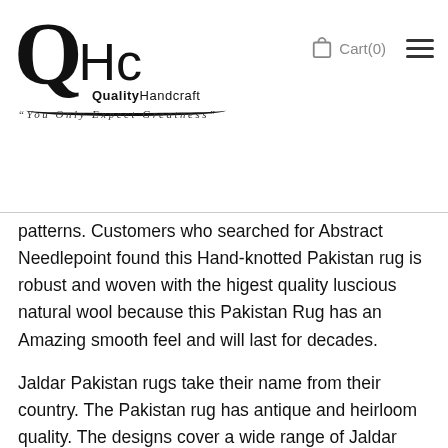[Figure (logo): QHc Quality Handcraft logo with large Q and tagline 'You Only Expect Greatness']
patterns. Customers who searched for Abstract Needlepoint found this Hand-knotted Pakistan rug is robust and woven with the higest quality luscious natural wool because this Pakistan Rug has an Amazing smooth feel and will last for decades.
Jaldar Pakistan rugs take their name from their country. The Pakistan rug has antique and heirloom quality. The designs cover a wide range of Jaldar Pakistan Rug Online, giving you the best deals. The cultural story of the Pakistan rug is just the beginning. The country's Jaldar rugs discovery was not just dazzling defined patterns and motifs, because of the delightful & beaut[scroll button]tails, it instantly infuses your area of placement with warmth and coziness. The traditions and cultures of Pakistan are part of